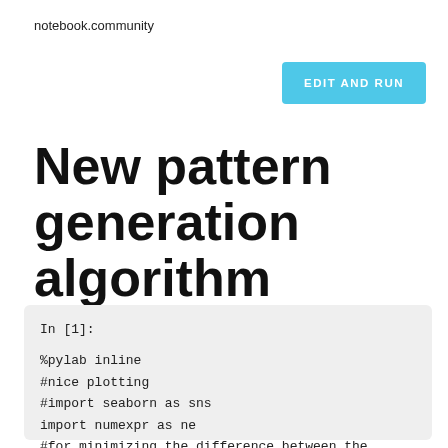notebook.community
[Figure (other): Blue 'EDIT AND RUN' button]
New pattern generation algorithm
In [1]:

%pylab inline
#nice plotting
#import seaborn as sns
import numexpr as ne
#for minimizing the difference between the
from scipy.optimize import minimize